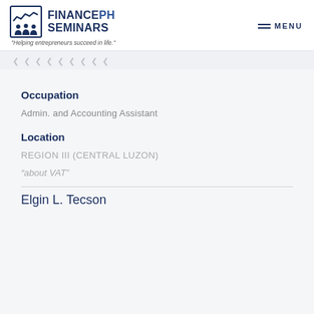FINANCEPH SEMINARS - "Helping entrepreneurs succeed in life." | MENU
[Figure (other): Breadcrumb navigation dots/arrows area]
Occupation
Admin. and Accounting Assistant
Location
REGION III (CENTRAL LUZON)
“about VAT”
Elgin L. Tecson